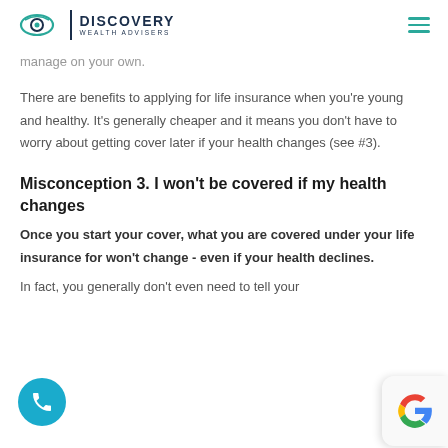DISCOVERY WEALTH ADVISERS
manage on your own.
There are benefits to applying for life insurance when you're young and healthy. It's generally cheaper and it means you don't have to worry about getting cover later if your health changes (see #3).
Misconception 3. I won't be covered if my health changes
Once you start your cover, what you are covered under your life insurance for won't change - even if your health declines.
In fact, you generally don't even need to tell your